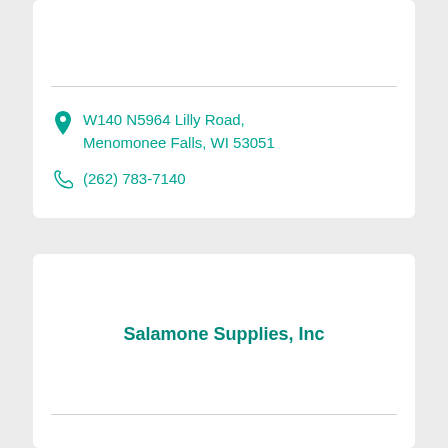W140 N5964 Lilly Road, Menomonee Falls, WI 53051
(262) 783-7140
Salamone Supplies, Inc